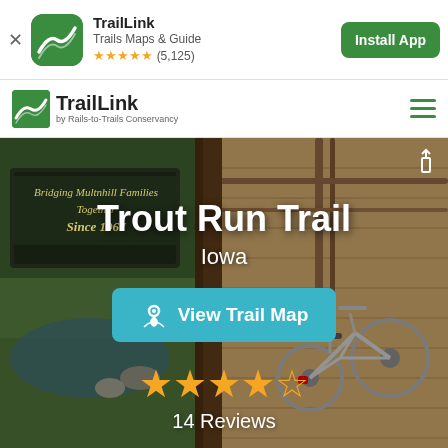[Figure (screenshot): App install banner with TrailLink icon, app name 'TrailLink', subtitle 'Trails Maps & Guide', 5-star rating (5,125 reviews), and Install App button]
[Figure (screenshot): TrailLink navigation bar with logo and hamburger menu]
[Figure (photo): Hero photo of Trout Run Trail in Iowa — shows a wooden bridge/boardwalk with a bicycle, and a sign reading 'Bridging Multnhill Families Together Since 1967', overlaid with trail name, state, View Trail Map button, star rating (4 stars, 14 Reviews)]